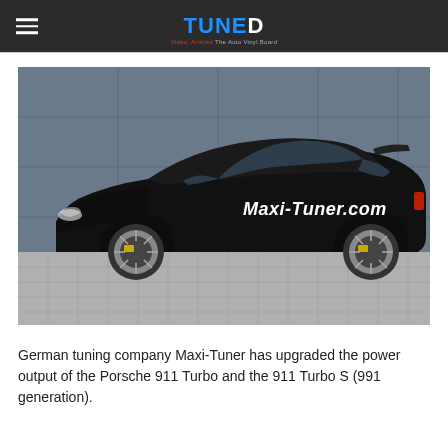TUNED
[Figure (photo): Black Porsche 911 Turbo with 'Maxi-Tuner.com' livery on the door, parked on a paved surface in front of a grey industrial wall. The car has yellow brake calipers and multi-spoke grey alloy wheels.]
German tuning company Maxi-Tuner has upgraded the power output of the Porsche 911 Turbo and the 911 Turbo S (991 generation).